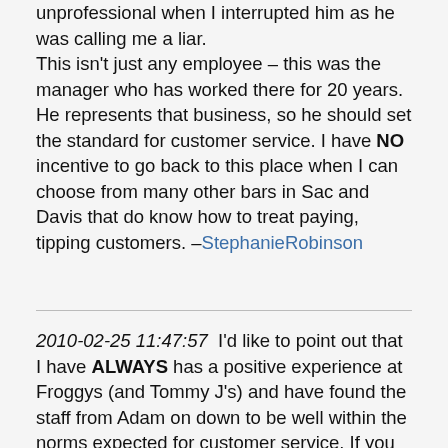unprofessional when I interrupted him as he was calling me a liar.

This isn't just any employee – this was the manager who has worked there for 20 years. He represents that business, so he should set the standard for customer service. I have NO incentive to go back to this place when I can choose from many other bars in Sac and Davis that do know how to treat paying, tipping customers. –StephanieRobinson
2010-02-25 11:47:57  I'd like to point out that I have ALWAYS has a positive experience at Froggys (and Tommy J's) and have found the staff from Adam on down to be well within the norms expected for customer service. If you give respect,